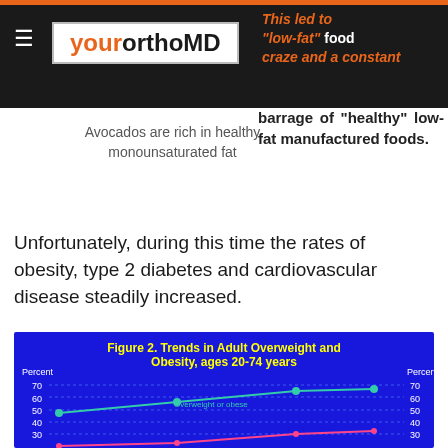yourorthoMD
This led to "low-fat" food craze and a constant barrage of "healthy" low-fat manufactured foods.
Avocados are rich in healthy monounsaturated fat
Unfortunately, during this time the rates of obesity, type 2 diabetes and cardiovascular disease steadily increased.
[Figure (line-chart): Figure 2. Trends in Adult Overweight and Obesity, ages 20-74 years]